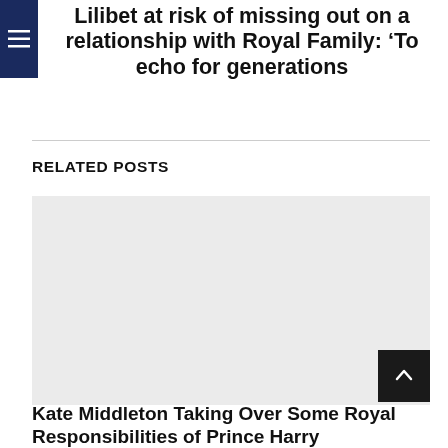Lilibet at risk of missing out on a relationship with Royal Family: ‘To echo for generations
RELATED POSTS
[Figure (photo): Placeholder image area, light grey rectangle]
Kate Middleton Taking Over Some Royal Responsibilities of Prince Harry